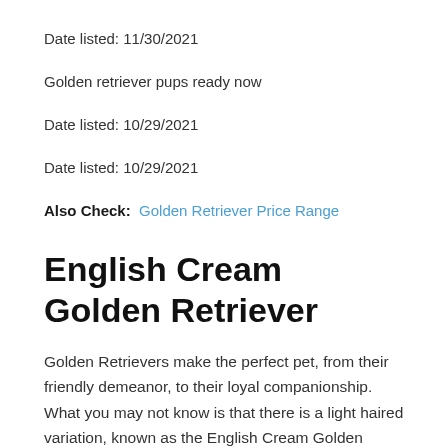Date listed: 11/30/2021
Golden retriever pups ready now
Date listed: 10/29/2021
Date listed: 10/29/2021
Also Check:  Golden Retriever Price Range
English Cream Golden Retriever
Golden Retrievers make the perfect pet, from their friendly demeanor, to their loyal companionship. What you may not know is that there is a light haired variation, known as the English Cream Golden Retriever. Despite being distinct in